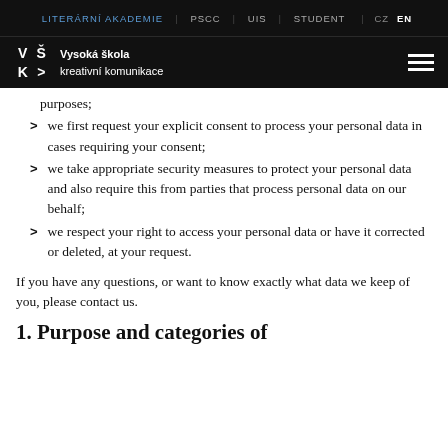LITERÁRNÍ AKADEMIE | PSCC | UIS | STUDENT | CZ EN
Vysoká škola kreativní komunikace
purposes;
we first request your explicit consent to process your personal data in cases requiring your consent;
we take appropriate security measures to protect your personal data and also require this from parties that process personal data on our behalf;
we respect your right to access your personal data or have it corrected or deleted, at your request.
If you have any questions, or want to know exactly what data we keep of you, please contact us.
1. Purpose and categories of